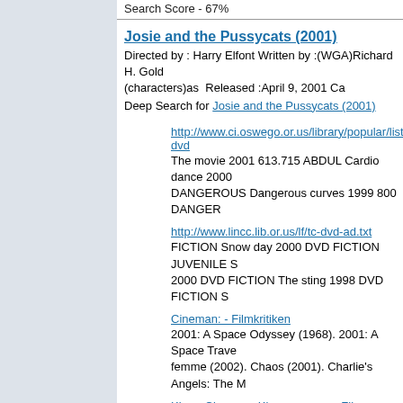Search Score - 67%
Josie and the Pussycats (2001)
Directed by : Harry Elfont Written by :(WGA)Richard H. Gold (characters)as  Released :April 9, 2001 Ca
Deep Search for Josie and the Pussycats (2001)
http://www.ci.oswego.or.us/library/popular/lists/lo-dvd
The movie 2001 613.715 ABDUL Cardio dance 2000 DANGEROUS Dangerous curves 1999 800 DANGER
http://www.lincc.lib.or.us/lf/tc-dvd-ad.txt
FICTION Snow day 2000 DVD FICTION JUVENILE S 2000 DVD FICTION The sting 1998 DVD FICTION S
Cineman: - Filmkritiken
2001: A Space Odyssey (1968). 2001: A Space Trave femme (2002). Chaos (2001). Charlie's Angels: The M
Kino - Cineman: Kinoprogramm, Film, Filmkritik, Wett
2000) Die Zeit mit Kathrin (1999) Digimon: The Movie Meier 19 (2001) Mein liebster Feind - Klaus Kinski (1
http://www.oregoncity.lib.or.us/lists/oc-movie-ad.txt
ice 2000 [B] Hold that ghost 1986 [B] In society 1993 [B] One night in the tropics 2000 [B] Pardon my sarom
Nearly One-Third of TV Guide's ``50 Greatest Cartoo Warner Bros. (Business Wire)
Search Score - 66%
Revenge of the Ninja (1983)
Directed by : Sam Firstenberg Written by : James R. Silko R